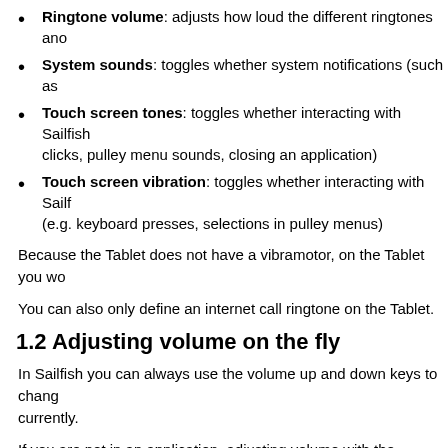Ringtone volume: adjusts how loud the different ringtones and
System sounds: toggles whether system notifications (such as
Touch screen tones: toggles whether interacting with Sailfish clicks, pulley menu sounds, closing an application)
Touch screen vibration: toggles whether interacting with Sailf (e.g. keyboard presses, selections in pulley menus)
Because the Tablet does not have a vibramotor, on the Tablet you wo
You can also only define an internet call ringtone on the Tablet.
1.2 Adjusting volume on the fly
In Sailfish you can always use the volume up and down keys to chang currently.
If you are not in an application, adjusting volume with the volume keys
[Figure (screenshot): A screenshot or image box with a light border, content not visible]